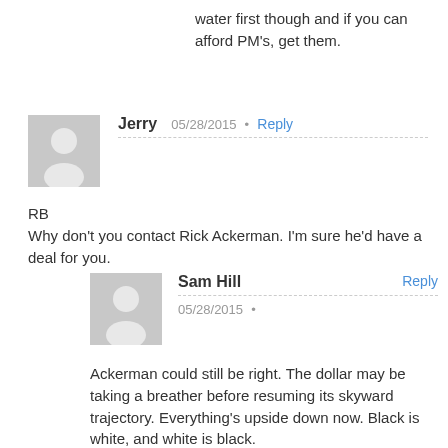water first though and if you can afford PM's, get them.
Jerry
05/28/2015
Reply
RB
Why don't you contact Rick Ackerman. I'm sure he'd have a deal for you.
Sam Hill
Reply
05/28/2015
Ackerman could still be right. The dollar may be taking a breather before resuming its skyward trajectory. Everything's upside down now. Black is white, and white is black.